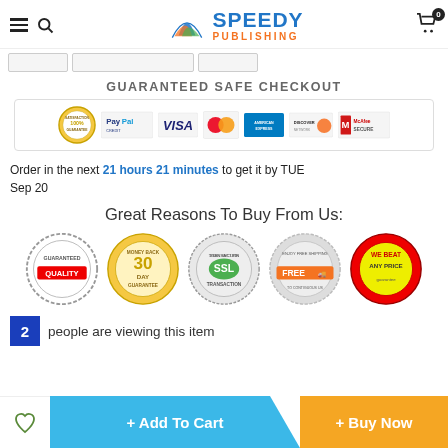SPEEDY PUBLISHING (header navigation with logo, menu, search, cart)
[Figure (logo): Speedy Publishing logo with colorful book icon and blue/orange text]
[Figure (infographic): Guaranteed Safe Checkout banner with PayPal, Visa, MasterCard, American Express, Discover, McAfee Secure badges]
Order in the next 21 hours 21 minutes to get it by TUE Sep 20
Great Reasons To Buy From Us:
[Figure (infographic): Five trust badges: Guaranteed Quality, 30 Day Money Back Guarantee, 100% Secure SSL Transaction, Enjoy Free Shipping to Contiguous US, We Beat Any Price guarantee]
2 people are viewing this item
+ Add To Cart  + Buy Now